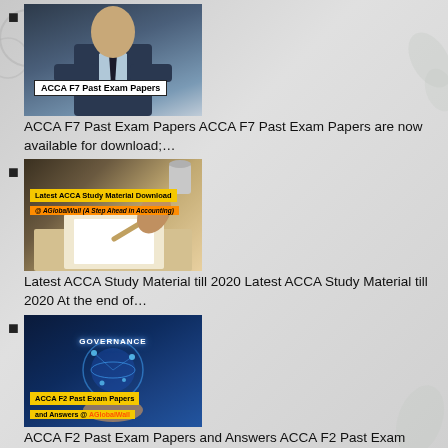[Figure (photo): Man in suit with arms crossed, overlay text 'ACCA F7 Past Exam Papers']
ACCA F7 Past Exam Papers ACCA F7 Past Exam Papers are now available for download;…
[Figure (photo): Person writing/studying, overlay text 'Latest ACCA Study Material Download @ AGlobalWall (A Step Ahead in Accounting)']
Latest ACCA Study Material till 2020 Latest ACCA Study Material till 2020 At the end of…
[Figure (photo): Digital governance concept with glowing globe, overlay text 'ACCA F2 Past Exam Papers and Answers @ AGlobalWall']
ACCA F2 Past Exam Papers and Answers ACCA F2 Past Exam Papers and Answers At the end…